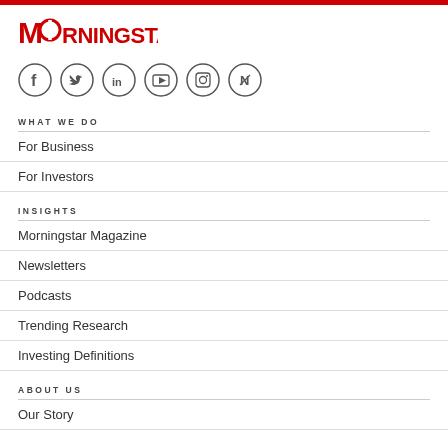[Figure (logo): Morningstar logo in red]
[Figure (infographic): Row of social media icons: Facebook, Twitter, LinkedIn, YouTube, Instagram, Apple News]
WHAT WE DO
For Business
For Investors
INSIGHTS
Morningstar Magazine
Newsletters
Podcasts
Trending Research
Investing Definitions
ABOUT US
Our Story